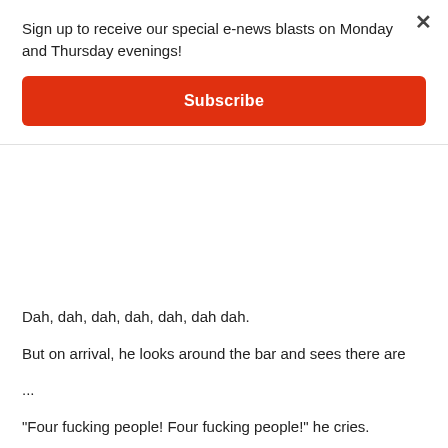Sign up to receive our special e-news blasts on Monday and Thursday evenings!
Subscribe
Dah, dah, dah, dah, dah, dah dah.
But on arrival, he looks around the bar and sees there are
...
"Four fucking people!  Four fucking people!"  he cries.
Then he turns around as the Sanford and son theme song plays:
Dah, dah, dah dah.
Dah, dah, dah, dah.
Dah, dah, dah, dah, dah, dah dah.